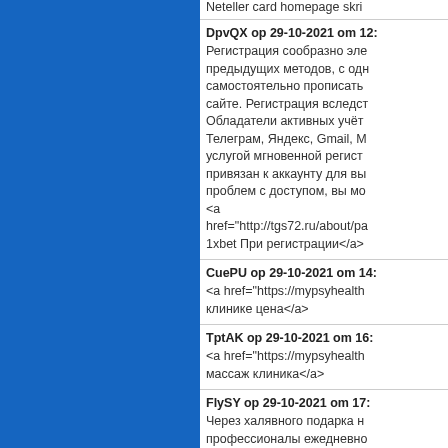Neteller card homepage skr
DpvQX op 29-10-2021 om 12:
Регистрация сообразно эле предыдущих методов, с одн самостоятельно прописать сайте. Регистрация вследст Обладатели активных учёт Телеграм, Яндекс, Gmail, M услугой мгновенной регист привязан к аккаунту для вы проблем с доступом, вы мо <a href="http://tgs72.ru/about/pa 1xbet При регистрации</a>
CuePU op 29-10-2021 om 14:
<a href="https://mypsyhealth клинике цена</a>
TptAK op 29-10-2021 om 16:
<a href="https://mypsyhealth массаж клиника</a>
FlySY op 29-10-2021 om 17:
Через халявного подарка н профессионалы ежедневно получить дополнительный пари – не просто приятное сноровка получения стабил зарегистрирован в букмеке ставках, посещает порта